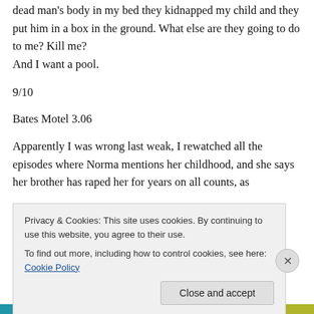dead man's body in my bed they kidnapped my child and they put him in a box in the ground. What else are they going to do to me? Kill me?
And I want a pool.
9/10
Bates Motel 3.06
Apparently I was wrong last weak, I rewatched all the episodes where Norma mentions her childhood, and she says her brother has raped her for years on all counts, as
Privacy & Cookies: This site uses cookies. By continuing to use this website, you agree to their use.
To find out more, including how to control cookies, see here: Cookie Policy
Close and accept